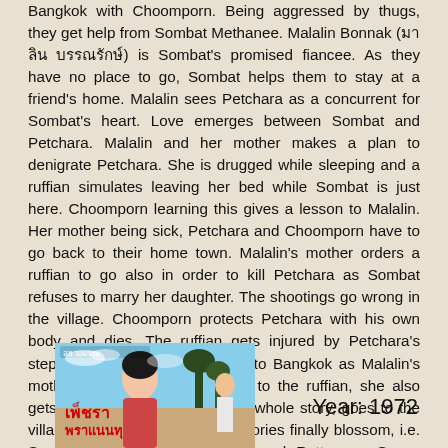Bangkok with Choomporn. Being aggressed by thugs, they get help from Sombat Methanee. Malalin Bonnak (มาลิน บรรณรักษ์) is Sombat's promised fiancee. As they have no place to go, Sombat helps them to stay at a friend's home. Malalin sees Petchara as a concurrent for Sombat's heart. Love emerges between Sombat and Petchara. Malalin and her mother makes a plan to denigrate Petchara. She is drugged while sleeping and a ruffian simulates leaving her bed while Sombat is just here. Choomporn learning this gives a lesson to Malalin. Her mother being sick, Petchara and Choomporn have to go back to their home town. Malalin's mother orders a ruffian to go also in order to kill Petchara as Sombat refuses to marry her daughter. The shootings go wrong in the village. Choomporn protects Petchara with his own body and dies. The ruffian gets injured by Petchara's stepfather, who also dies. Back to Bangkok as Malalin's mother refuses to pay anything to the ruffian, she also gets shot. Anucha, aware of the whole story, goes to the village with Sombat. Both love stories finally blossom, i.e. Sombat and Petchara, Anucha and Rattaporn. Seven songs are performed including singer Songthong.
[Figure (photo): Movie poster image showing a woman and a man in the background, with Thai text and red decorative title text]
Year: 1972